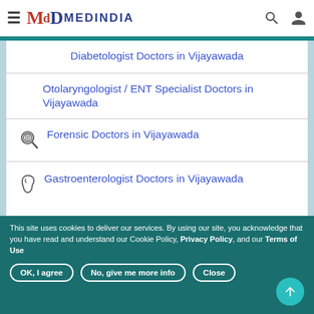MEDINDIA
Diabetologist Doctors in Vijayawada
Otolaryngologist / ENT Specialist Doctors in Vijayawada
Forensic Doctors in Vijayawada
Gastroenterologist Doctors in Vijayawada
This site uses cookies to deliver our services. By using our site, you acknowledge that you have read and understand our Cookie Policy, Privacy Policy, and our Terms of Use
OK, I agree | No, give me more info | Close